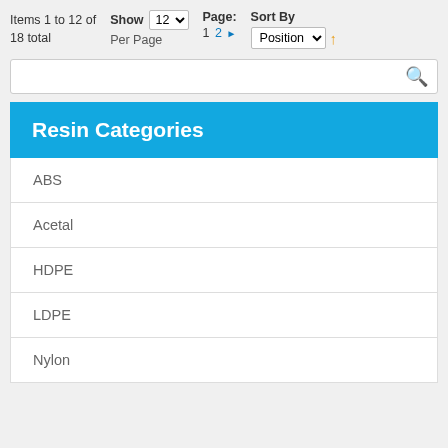Items 1 to 12 of 18 total
Show 12 Per Page
Page: 1 2 ▶
Sort By Position ↑
Resin Categories
ABS
Acetal
HDPE
LDPE
Nylon